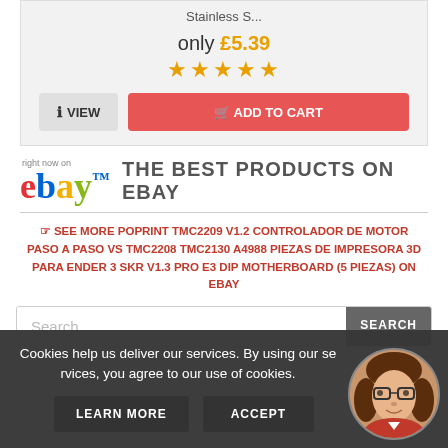Stainless S...
only £5.39
[Figure (other): 5 gold star rating]
[Figure (other): VIEW button and ADD TO CART button]
[Figure (logo): eBay logo with 'right now on' text above]
THE BEST PRODUCTS ON EBAY
☞ SEE MORE POPRINT TMC2209 V1.2 CONTROLADOR DE MOTOR PASO A PASO VS TMC2208 TMC2130 A4988 PIEZAS DE IMPRESORA 3D PARA ENDER 3 SKR V1.3 PRO E3 DIP MOTHERBOARD (5 PIEZAS) ON EBAY
[Figure (other): Search bar with Search placeholder and SEARCH button]
Cookies help us deliver our services. By using our services, you agree to our use of cookies.
[Figure (illustration): Avatar of a woman with glasses and red outfit]
LEARN MORE
ACCEPT